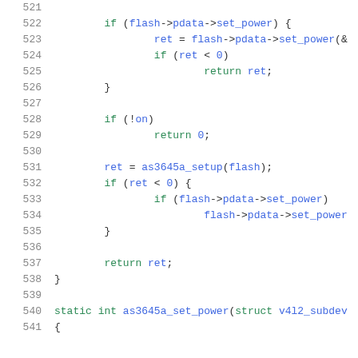Source code listing, lines 521-541, C code for flash driver
521
522    if (flash->pdata->set_power) {
523            ret = flash->pdata->set_power(&
524            if (ret < 0)
525                    return ret;
526    }
527
528    if (!on)
529            return 0;
530
531    ret = as3645a_setup(flash);
532    if (ret < 0) {
533            if (flash->pdata->set_power)
534                    flash->pdata->set_power
535    }
536
537    return ret;
538 }
539
540 static int as3645a_set_power(struct v4l2_subdev
541 {